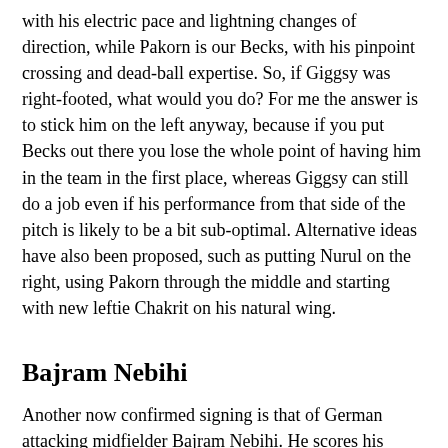with his electric pace and lightning changes of direction, while Pakorn is our Becks, with his pinpoint crossing and dead-ball expertise. So, if Giggsy was right-footed, what would you do? For me the answer is to stick him on the left anyway, because if you put Becks out there you lose the whole point of having him in the team in the first place, whereas Giggsy can still do a job even if his performance from that side of the pitch is likely to be a bit sub-optimal. Alternative ideas have also been proposed, such as putting Nurul on the right, using Pakorn through the middle and starting with new leftie Chakrit on his natural wing.
Bajram Nebihi
Another now confirmed signing is that of German attacking midfielder Bajram Nebihi. He scores his hattrick of transfer-talk references today, and we are still none the wiser on what Port intend to do with him. As we've said before, if he's replacing Suarez then we're over the moon, but if he's going to be used as a centre forward then we think Port could most certainly do better. With rumours still flying around left, right and centre about strikers, it seems likely that Nebihi is indeed being rightly seen as an attacking midfielder, which could mean that Suarez will be finding a new club and Port will continue to try to secure a big